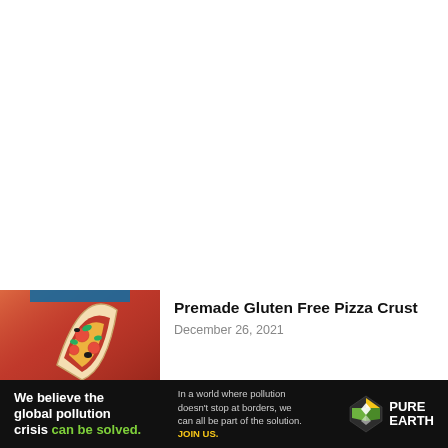[Figure (photo): Thumbnail photo of a packaged gluten free pizza crust product with a pizza slice illustration on the packaging, showing tomatoes and toppings. An 'Exclusive' badge is overlaid at the bottom left.]
Premade Gluten Free Pizza Crust
December 26, 2021
[Figure (photo): Partial thumbnail of a second article, showing a food item with golden/baked color.]
Can Gluten Intolerance Cause...
[Figure (infographic): Advertisement banner for Pure Earth. Left text: 'We believe the global pollution crisis can be solved.' Middle text: 'In a world where pollution doesn't stop at borders, we can all be part of the solution. JOIN US.' Right: Pure Earth logo (diamond with arrow icon) and wordmark 'PURE EARTH'.]